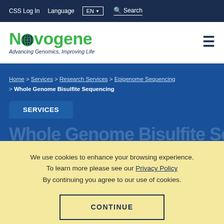CSS Log In  Language  EN  Search
[Figure (logo): Novogene logo with globe icon replacing the letter 'o', tagline: Advancing Genomics, Improving Life]
[Figure (other): Hamburger menu icon (three horizontal lines)]
Home > Services > Research Services > Epigenome Sequencing > Whole Genome Bisulfite Sequencing
SERVICES
We use cookies to enhance your browsing experience. To learn more please see our Privacy Policy By continuing you agree to our use of cookies.
CONTINUE